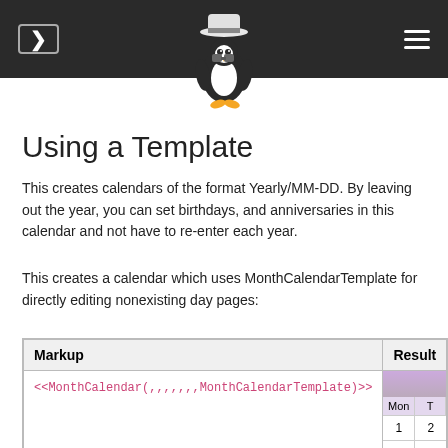Using a Template - MoinMoin wiki navigation header
[Figure (illustration): Linux Tux penguin mascot with binoculars]
Using a Template
This creates calendars of the format Yearly/MM-DD. By leaving out the year, you can set birthdays, and anniversaries in this calendar and not have to re-enter each year.
This creates a calendar which uses MonthCalendarTemplate for directly editing nonexisting day pages:
| Markup | Result |
| --- | --- |
| <<MonthCalendar(,,,,,,,MonthCalendarTemplate)>> | [calendar preview showing Mon, 1, 8, 15 columns] |